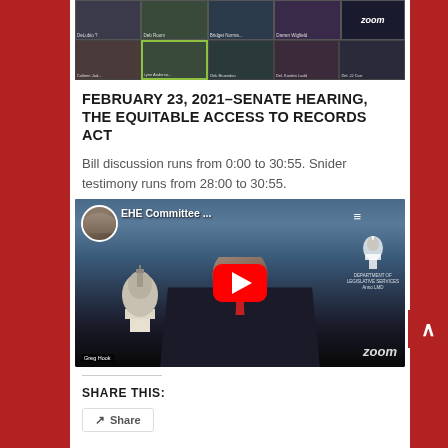[Figure (screenshot): Zoom video call screenshot showing multiple participants in a legislative committee meeting, with name labels visible including DeLubio(?), Deb Room, Bridget Norma..., Darren Wigfield, and others in a grid layout]
FEBRUARY 23, 2021–SENATE HEARING, THE EQUITABLE ACCESS TO RECORDS ACT
Bill discussion runs from 0:00 to 30:55. Snider testimony runs from 28:00 to 30:55.
[Figure (screenshot): YouTube video thumbnail for EHE Committee hearing showing man in suit against aerial view of Maryland State Capitol dome with zoom watermark, red play button overlay. Speaker label: Greg Hook]
SHARE THIS:
Share